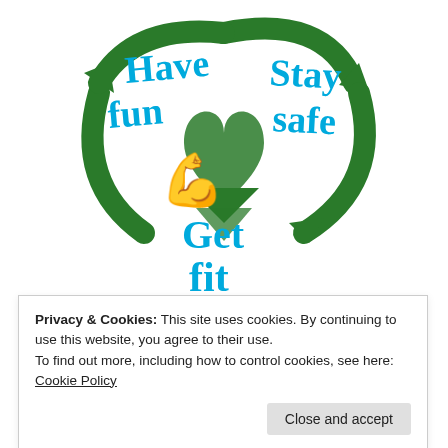[Figure (logo): A circular logo with green recycling-style arrows forming a cycle, a green heart/book shape in the center, a flexing arm emoji in the middle, and handwritten-style blue text reading 'Have fun', 'Stay safe', 'Get fit' around the arrows.]
Privacy & Cookies: This site uses cookies. By continuing to use this website, you agree to their use.
To find out more, including how to control cookies, see here: Cookie Policy
Close and accept
We are affiliated to: